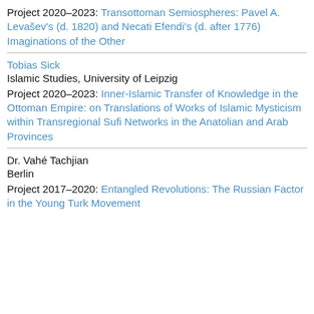Project 2020–2023: Transottoman Semiospheres: Pavel A. Levašev's (d. 1820) and Necati Efendi's (d. after 1776) Imaginations of the Other
Tobias Sick
Islamic Studies, University of Leipzig
Project 2020–2023: Inner-Islamic Transfer of Knowledge in the Ottoman Empire: on Translations of Works of Islamic Mysticism within Transregional Sufi Networks in the Anatolian and Arab Provinces
Dr. Vahé Tachjian
Berlin
Project 2017–2020: Entangled Revolutions: The Russian Factor in the Young Turk Movement